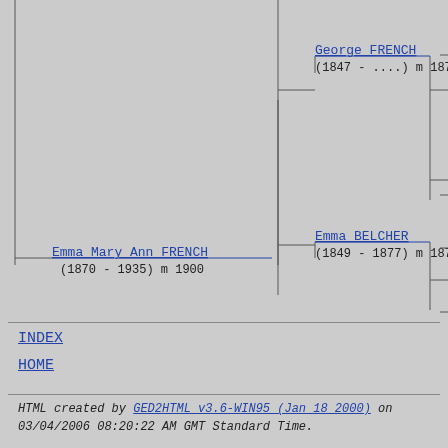[Figure (flowchart): Family tree / pedigree chart showing George FRENCH (1847 - ....) m 1870, Emma Mary Ann FRENCH (1870 - 1935) m 1900, and Emma BELCHER (1849 - 1877) m 1870, connected by lines indicating ancestry.]
INDEX
HOME
HTML created by GED2HTML v3.6-WIN95 (Jan 18 2000) on 03/04/2006 08:20:22 AM GMT Standard Time.